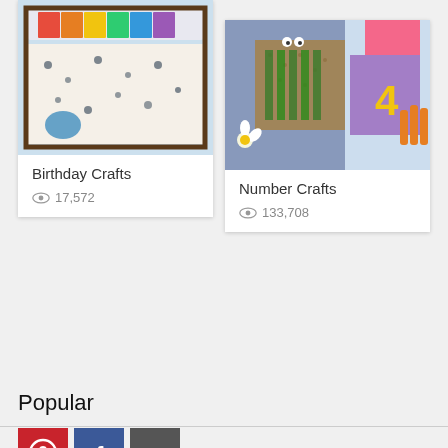[Figure (photo): Birthday crafts card with rainbow watercolor painting photo, title 'Birthday Crafts', views 17,572]
[Figure (photo): Number crafts card with colorful children's crafts photo, title 'Number Crafts', views 133,708]
Find More Crafts >
Popular
[Figure (infographic): Social share buttons: Pinterest (red), Facebook (blue), Plus/More (gray)]
Be a hero! Share this page to help others get FREE resources!